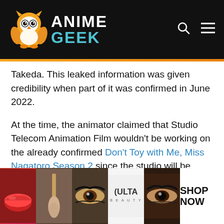ANIME GEEK
Takeda. This leaked information was given credibility when part of it was confirmed in June 2022.
At the time, the animator claimed that Studio Telecom Animation Film wouldn't be working on the already confirmed Don't Toy with Me, Miss Nagatoro Season 2 since the studio will be busy making the Tower Of God sequel.
[Figure (other): Advertisement banner showing makeup/beauty images and Ulta Beauty logo with SHOP NOW text]